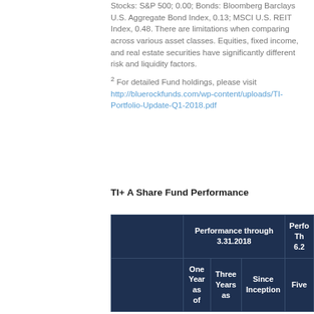Stocks: S&P 500; 0.00; Bonds: Bloomberg Barclays U.S. Aggregate Bond Index, 0.13; MSCI U.S. REIT Index, 0.48. There are limitations when comparing across various asset classes. Equities, fixed income, and real estate securities have significantly different risk and liquidity factors.
2 For detailed Fund holdings, please visit http://bluerockfunds.com/wp-content/uploads/TI-Portfolio-Update-Q1-2018.pdf
TI+ A Share Fund Performance
|  | Performance through 3.31.2018 |  |  | Perfo Through 6.2... |
| --- | --- | --- | --- | --- |
|  | One Year as of | Three Years as | Since Inception | Five... |